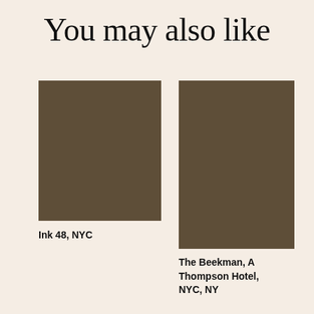You may also like
[Figure (illustration): Brown/tan color swatch rectangle representing Ink 48, NYC hotel]
Ink 48, NYC
[Figure (illustration): Brown/tan color swatch rectangle representing The Beekman, A Thompson Hotel, NYC, NY]
The Beekman, A Thompson Hotel, NYC, NY